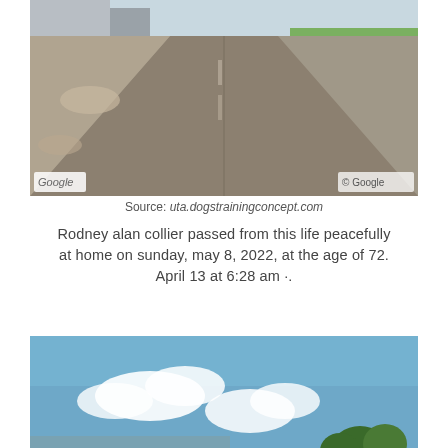[Figure (photo): Google Street View image showing a rural road or driveway leading into the distance, with gravel/asphalt surface, green grass on the right, and a building visible at the top left. Google logo watermark on bottom left and bottom right.]
Source: uta.dogstrainingconcept.com
Rodney alan collier passed from this life peacefully at home on sunday, may 8, 2022, at the age of 72. April 13 at 6:28 am ·.
[Figure (photo): Outdoor photo showing a blue sky with white clouds and tree tops visible at the bottom right. Appears to be a street-view or outdoor scene.]